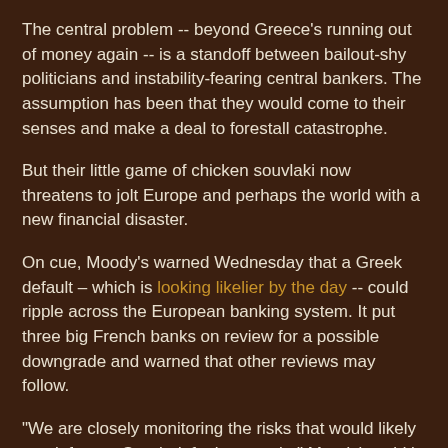The central problem -- beyond Greece's running out of money again -- is a standoff between bailout-shy politicians and instability-fearing central bankers. The assumption has been that they would come to their senses and make a deal to forestall catastrophe.
But their little game of chicken souvlaki now threatens to jolt Europe and perhaps the world with a new financial disaster.
On cue, Moody's warned Wednesday that a Greek default – which is looking likelier by the day -- could ripple across the European banking system. It put three big French banks on review for a possible downgrade and warned that other reviews may follow.
"We are closely monitoring the risks that would likely result from a Greek default scenario," Moody's said in announcing its review of Credit Agricole, BNP Paribas and Societe Generale. It noted "the potential impact on weaker countries, the capital markets, and funding conditions," and said it is "taking those risks into consideration in our ratings of banks across the Eurozone."